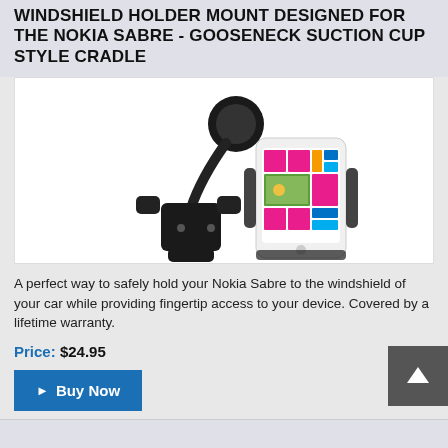WINDSHIELD HOLDER MOUNT DESIGNED FOR THE NOKIA SABRE - GOOSENECK SUCTION CUP STYLE CRADLE
[Figure (photo): Product photo showing a gooseneck suction cup windshield car mount cradle alongside a white Nokia Sabre smartphone with a colorful tiled Windows Phone interface displayed on screen.]
A perfect way to safely hold your Nokia Sabre to the windshield of your car while providing fingertip access to your device. Covered by a lifetime warranty.
Price: $24.95
▶ Buy Now